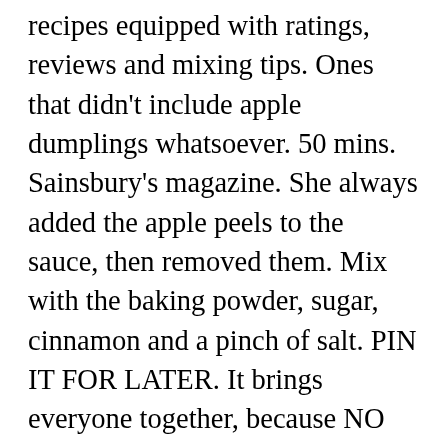recipes equipped with ratings, reviews and mixing tips. Ones that didn't include apple dumplings whatsoever. 50 mins. Sainsbury's magazine. She always added the apple peels to the sauce, then removed them. Mix with the baking powder, sugar, cinnamon and a pinch of salt. PIN IT FOR LATER. It brings everyone together, because NO ONE can resists these! Pour mixture over dumplings in pan. Then cut each ... When ready to bake, remove the dough and place it on a floured surface. Tip the flour into a bowl. Plus, it's easier to allocate ingredients this way. Save any remaining dough to make decorative leaves or desired shape. Remove and let it cool slightly, spoon sauce over apple